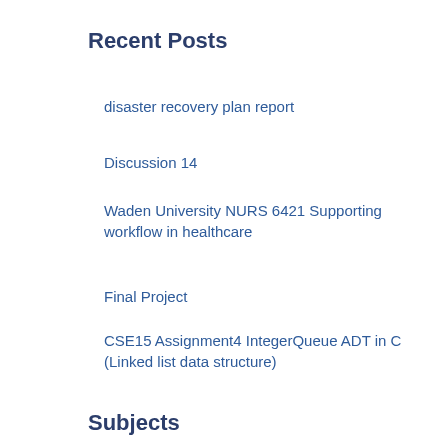Recent Posts
disaster recovery plan report
Discussion 14
Waden University NURS 6421 Supporting workflow in healthcare
Final Project
CSE15 Assignment4 IntegerQueue ADT in C (Linked list data structure)
Subjects
Applied Sciences
Architecture and Design